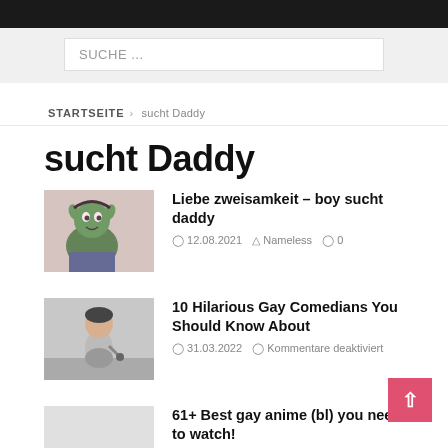SUCHE ...
STARTSEITE > sucht Daddy
sucht Daddy
[Figure (illustration): Cartoon character thumbnail for first article]
Liebe zweisamkeit – boy sucht daddy
12.08.2021  Nameless  0
[Figure (photo): Photo of a person on stage for second article]
10 Hilarious Gay Comedians You Should Know About
31.03.2022  Kommentare deaktiviert
[Figure (photo): Thumbnail for third article]
61+ Best gay anime (bl) you need to watch!
12.01.2022  Kommentare deaktiviert